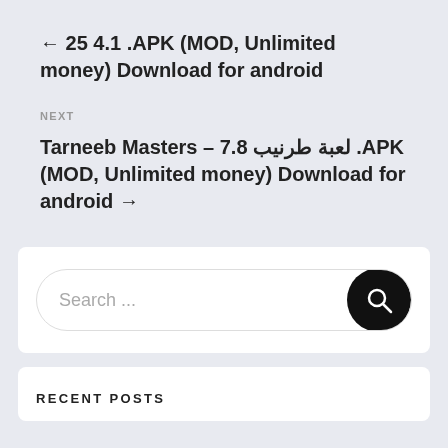← 25 4.1 .APK (MOD, Unlimited money) Download for android
NEXT
Tarneeb Masters – 7.8 لعبة طرنيب .APK (MOD, Unlimited money) Download for android →
RECENT POSTS